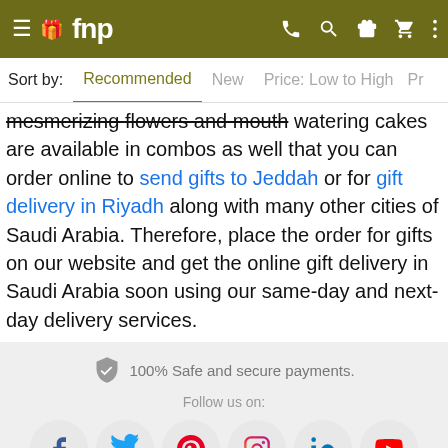fnp — navigation header with hamburger menu, phone, search, gift, cart, more icons
Sort by: Recommended  New  Price: Low to High  Pr
mesmerizing flowers and mouth watering cakes are available in combos as well that you can order online to send gifts to Jeddah or for gift delivery in Riyadh along with many other cities of Saudi Arabia. Therefore, place the order for gifts on our website and get the online gift delivery in Saudi Arabia soon using our same-day and next-day delivery services.
100% Safe and secure payments.
Follow us on:
[Figure (infographic): Social media icons row: Facebook, Twitter, Pinterest, Instagram, LinkedIn, YouTube — each in a circular grey button]